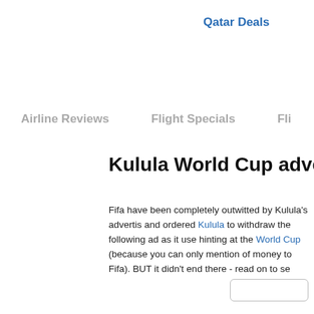Qatar Deals
Airline Reviews   Flight Specials   Fli
Kulula World Cup adve
Fifa have been completely outwitted by Kulula's advertis and ordered Kulula to withdraw the following ad as it use hinting at the World Cup (because you can only mention of money to Fifa). BUT it didn't end there - read on to se